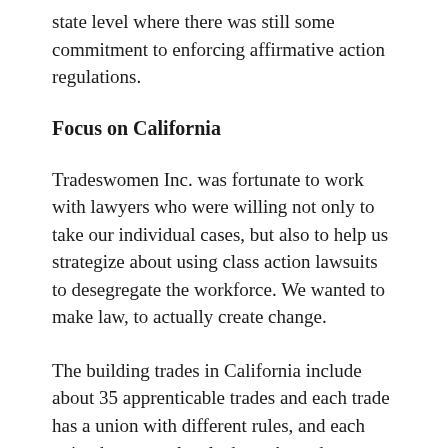state level where there was still some commitment to enforcing affirmative action regulations.
Focus on California
Tradeswomen Inc. was fortunate to work with lawyers who were willing not only to take our individual cases, but also to help us strategize about using class action lawsuits to desegregate the workforce. We wanted to make law, to actually create change.
The building trades in California include about 35 apprenticable trades and each trade has a union with different rules, and each union has many locals throughout the state. Not a single